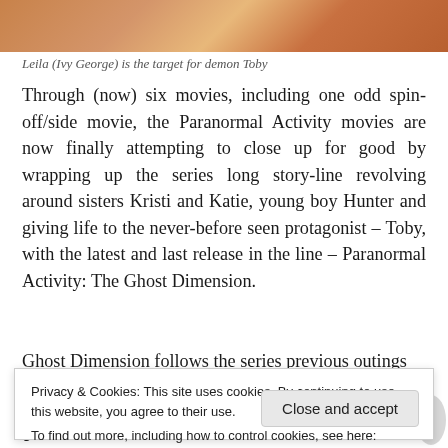[Figure (photo): Top portion of an image showing warm orange/tan tones, partially cropped]
Leila (Ivy George) is the target for demon Toby
Through (now) six movies, including one odd spin-off/side movie, the Paranormal Activity movies are now finally attempting to close up for good by wrapping up the series long story-line revolving around sisters Kristi and Katie, young boy Hunter and giving life to the never-before seen protagonist – Toby, with the latest and last release in the line – Paranormal Activity: The Ghost Dimension.
Ghost Dimension follows the series previous outings
Privacy & Cookies: This site uses cookies. By continuing to use this website, you agree to their use.
To find out more, including how to control cookies, see here: Cookie Policy